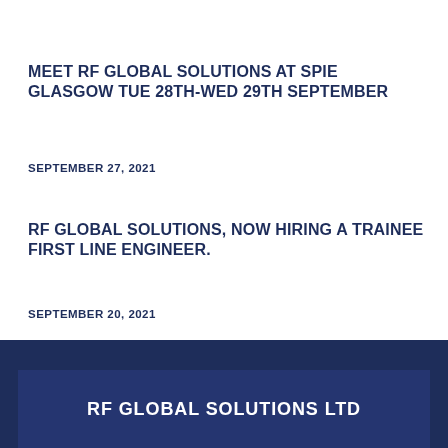MEET RF GLOBAL SOLUTIONS AT SPIE GLASGOW TUE 28TH-WED 29TH SEPTEMBER
SEPTEMBER 27, 2021
RF GLOBAL SOLUTIONS, NOW HIRING A TRAINEE FIRST LINE ENGINEER.
SEPTEMBER 20, 2021
RF GLOBAL SOLUTIONS LTD